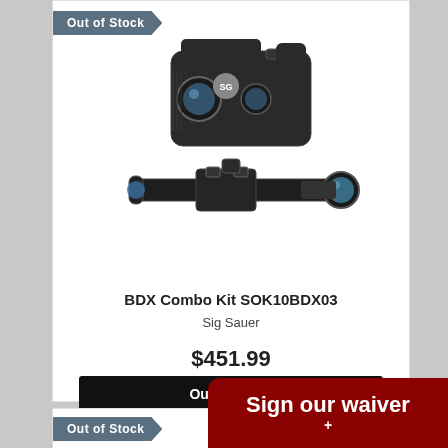Out of Stock
[Figure (photo): Sig Sauer BDX Combo Kit product photo showing a rangefinder and a rifle scope, both matte black]
BDX Combo Kit SOK10BDX03
Sig Sauer
$451.99
Out of Stock
Financing Available
Out of Stock
Sign our waiver